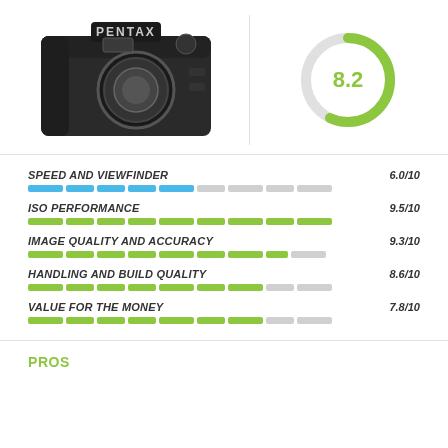[Figure (photo): Pentax DSLR camera body, front view, on white background]
[Figure (donut-chart): Overall score]
[Figure (bar-chart): Speed and Viewfinder]
[Figure (bar-chart): ISO Performance]
[Figure (bar-chart): Image Quality and Accuracy]
[Figure (bar-chart): Handling and Build Quality]
[Figure (bar-chart): Value for the Money]
PROS